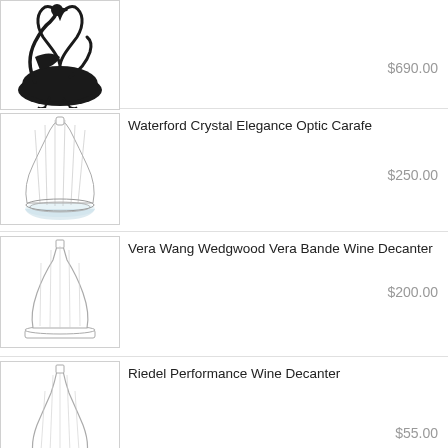[Figure (photo): Product image of a decorative black swan-shaped decanter/wine vessel]
$690.00
[Figure (photo): Product image of Waterford Crystal Elegance Optic Carafe - clear crystal carafe with wide round base]
Waterford Crystal Elegance Optic Carafe
$250.00
[Figure (photo): Product image of Vera Wang Wedgwood Vera Bande Wine Decanter - tall clear crystal decanter]
Vera Wang Wedgwood Vera Bande Wine Decanter
$200.00
[Figure (photo): Product image of Riedel Performance Wine Decanter - tall slender clear decanter]
Riedel Performance Wine Decanter
$55.00